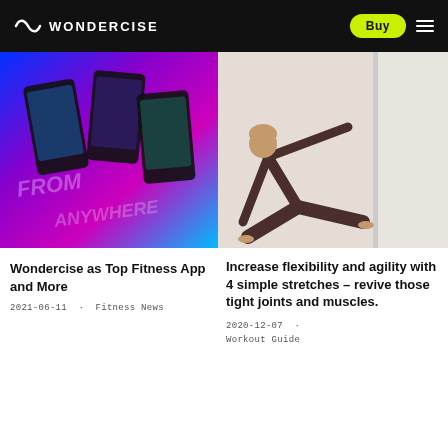WONDERCISE — Buy
[Figure (photo): Colorful app promo image with phones showing fitness app screens on neon gradient background with text FROM ANYWHERE]
Wondercise as Top Fitness App and More
2021-06-11 · Fitness News
[Figure (photo): Woman in dark athletic wear doing a side stretch yoga pose on white background]
Increase flexibility and agility with 4 simple stretches – revive those tight joints and muscles.
2020-12-07 · Workout Guide